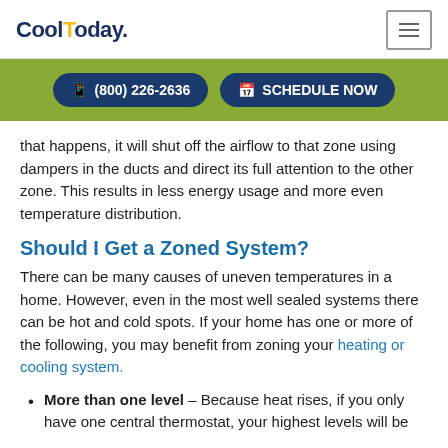CoolToday. [menu icon]
[Figure (infographic): Green bar with two dark blue pill-shaped buttons: '(800) 226-2636' with phone icon, and 'SCHEDULE NOW' with calendar icon]
that happens, it will shut off the airflow to that zone using dampers in the ducts and direct its full attention to the other zone. This results in less energy usage and more even temperature distribution.
Should I Get a Zoned System?
There can be many causes of uneven temperatures in a home. However, even in the most well sealed systems there can be hot and cold spots. If your home has one or more of the following, you may benefit from zoning your heating or cooling system.
More than one level – Because heat rises, if you only have one central thermostat, your highest levels will be